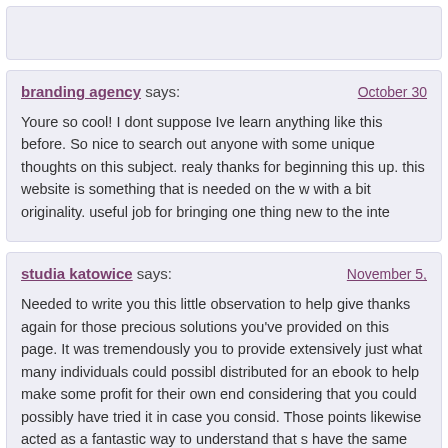[top comment box partial]
branding agency says: October 30
studia katowice says: November 5,